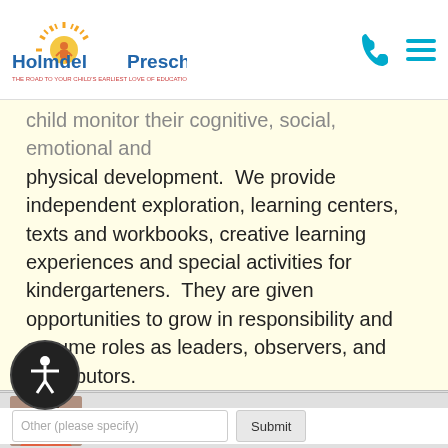[Figure (logo): Holmdel Preschool logo with sunburst and child figure, tagline below]
child monitor their cognitive, social, emotional and physical development.  We provide independent exploration, learning centers, texts and workbooks, creative learning experiences and special activities for kindergarteners.  They are given opportunities to grow in responsibility and assume roles as leaders, observers, and contributors.
[Figure (photo): Woman with dark hair and coral scarf, popup avatar]
How did you find us today?
Friend/Family Referral
Internet Search
Newspaper Ad
Yellow Pages
Social Media
Other (please specify)
Submit